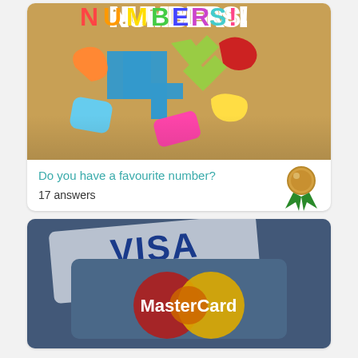[Figure (photo): Colorful plastic letter and number tiles, with a large blue number 4 and green X visible, with text 'NUMBERS!' at the top]
Do you have a favourite number?
17 answers
[Figure (photo): Close-up photo of credit cards showing VISA and MasterCard logos]